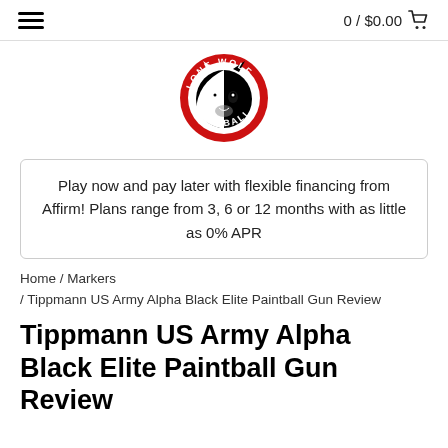0 / $0.00
[Figure (logo): Lone Wolf Paintball circular logo — red ring with white text 'LONE WOLF' on top and 'PAINTBALL' on bottom, black and white wolf face in center]
Play now and pay later with flexible financing from Affirm! Plans range from 3, 6 or 12 months with as little as 0% APR
Home / Markers / Tippmann US Army Alpha Black Elite Paintball Gun Review
Tippmann US Army Alpha Black Elite Paintball Gun Review